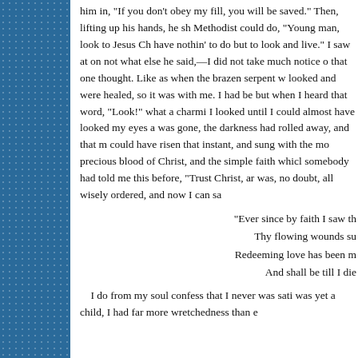him in. "If you will obey my fill, you will be saved." Then, lifting up his hands, he shouted as only a Methodist could do, "Young man, look to Jesus Christ! You have nothin' to do but to look and live." I saw at once the way of salvation. I do not know what else he said,—I did not take much notice of it—I was so possessed with that one thought. Like as when the brazen serpent was lifted up, the people looked and were healed, so it was with me. I had been waiting to do fifty things, but when I heard that word, "Look!" what a charming word it seemed to me! I looked until I could almost have looked my eyes away. There and then the cloud was gone, the darkness had rolled away, and that moment I saw the sun; and I could have risen that instant, and sung with the most enthusiastic of them, of the precious blood of Christ, and the simple faith which looks alone to him. Oh, that somebody had told me this before, "Trust Christ, and you shall be saved." Yet it was, no doubt, all wisely ordered, and now I can say,
"Ever since by faith I saw the stream
 Thy flowing wounds supply,
Redeeming love has been my theme,
 And shall be till I die"
I do from my soul confess that I never was satisfied till I had heard that doctrine. When I was yet a child, I had far more wretchedness than ever a child should have felt, and I can